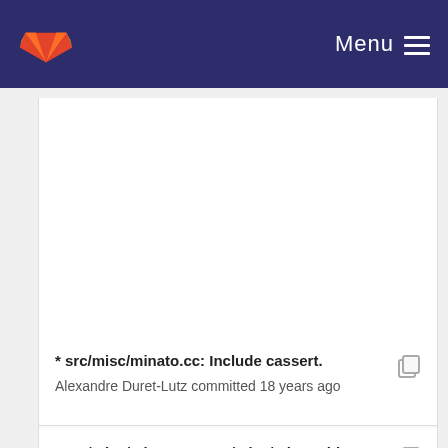GitLab — Menu
* src/misc/minato.cc: Include cassert.
Alexandre Duret-Lutz committed 18 years ago
* src/misc/minato.cc, src/misc/minato.hh: New files.
Alexandre Duret-Lutz committed 18 years ago